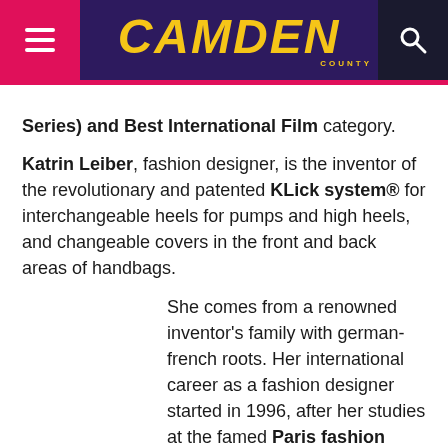Camden (logo header with menu and search)
Series) and Best International Film category.
Katrin Leiber, fashion designer, is the inventor of the revolutionary and patented KLick system® for interchangeable heels for pumps and high heels, and changeable covers in the front and back areas of handbags.
She comes from a renowned inventor's family with german-french roots. Her international career as a fashion designer started in 1996, after her studies at the famed Paris fashion school ESMOD, in which she finished with an outstanding